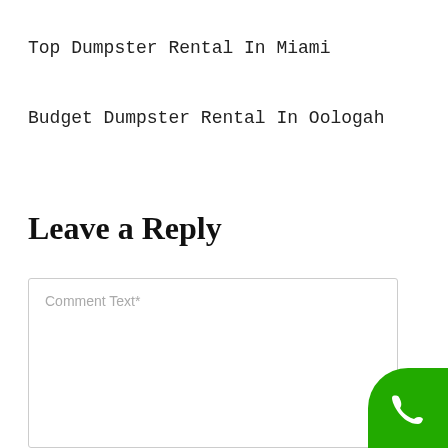Top Dumpster Rental In Miami
Budget Dumpster Rental In Oologah
Leave a Reply
Comment Text*